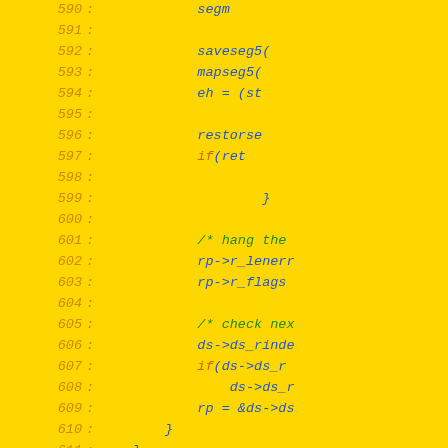[Figure (screenshot): Source code listing showing C code lines 590-620, with line numbers in italic orange on the left, code in blue and orange on yellow background. The code shows segment mapping, error handling, and a deread function definition.]